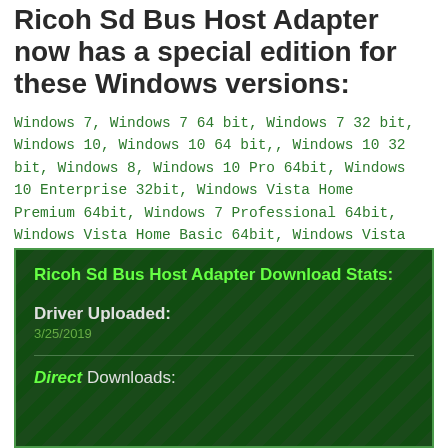Ricoh Sd Bus Host Adapter now has a special edition for these Windows versions:
Windows 7, Windows 7 64 bit, Windows 7 32 bit, Windows 10, Windows 10 64 bit,, Windows 10 32 bit, Windows 8, Windows 10 Pro 64bit, Windows 10 Enterprise 32bit, Windows Vista Home Premium 64bit, Windows 7 Professional 64bit, Windows Vista Home Basic 64bit, Windows Vista Starter 64bit, Windows 10 64bit,
Ricoh Sd Bus Host Adapter Download Stats:
Driver Uploaded: 3/25/2019
Direct Downloads: